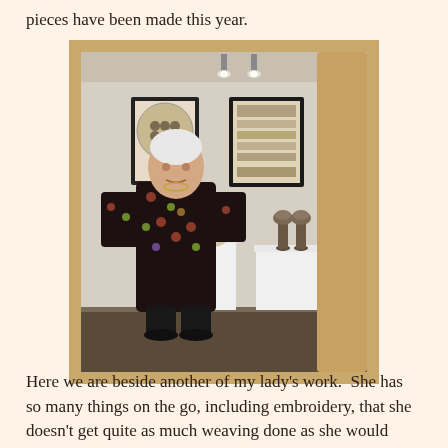pieces have been made this year.
[Figure (photo): An elderly woman standing in an art gallery/exhibition space beside display pedestals with woven or crafted objects on them. Two framed artworks hang on the white wall behind her. She is wearing a dark floral top. The scene is framed by a rustic wooden frame.]
Here we are beside another of my lady's work.  She has so many things on the go, including embroidery, that she doesn't get quite as much weaving done as she would like.  However she has progressed and has aspirations of making a full sized korowai for